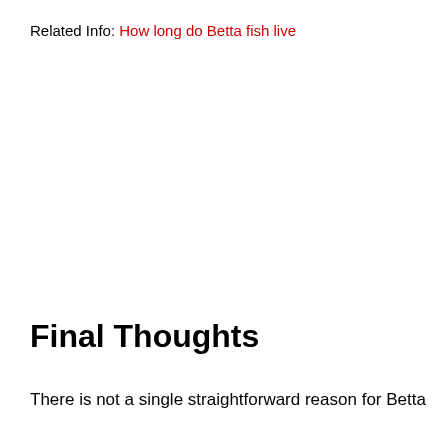Related Info: How long do Betta fish live
Final Thoughts
There is not a single straightforward reason for Betta